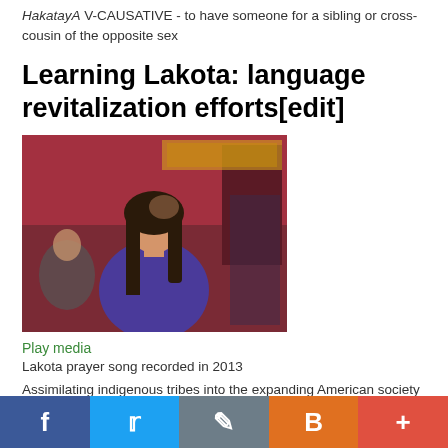HakatayA V-CAUSATIVE - to have someone for a sibling or cross-cousin of the opposite sex
Learning Lakota: language revitalization efforts[edit]
[Figure (photo): A young woman with long dark hair, wearing a purple hoodie, looking downward. Background shows a gymnasium or community space with red/maroon walls and other people seated.]
Play media
Lakota prayer song recorded in 2013
Assimilating indigenous tribes into the expanding American society of the late 19th and early 20th centuries depended on suppression or full eradication of each tribe's unique language as the central aspect of its culture. Government boarding schools that separated tribal children from their parents and relatives enforced this assimilation process with